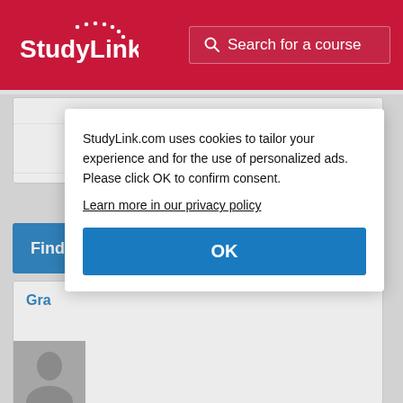StudyLink | Search for a course
Cardiff University
Find out more
Gra...
StudyLink.com uses cookies to tailor your experience and for the use of personalized ads. Please click OK to confirm consent. Learn more in our privacy policy
OK